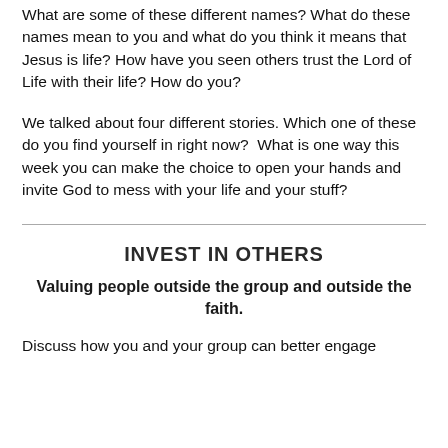What are some of these different names? What do these names mean to you and what do you think it means that Jesus is life? How have you seen others trust the Lord of Life with their life? How do you?
We talked about four different stories. Which one of these do you find yourself in right now?  What is one way this week you can make the choice to open your hands and invite God to mess with your life and your stuff?
INVEST IN OTHERS
Valuing people outside the group and outside the faith.
Discuss how you and your group can better engage